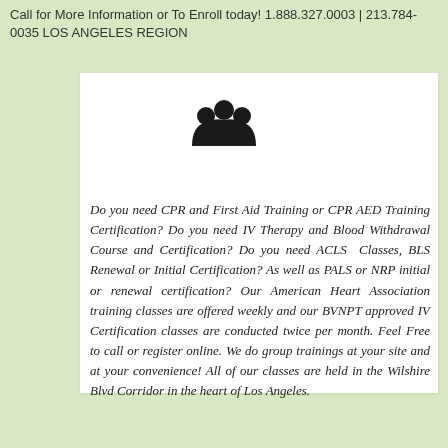Call for More Information or To Enroll today! 1.888.327.0003 | 213.784-0035 LOS ANGELES REGION
[Figure (illustration): Group/people icon: three circular heads arranged in a dome/arch shape, dark silhouette style]
Do you need CPR and First Aid Training or CPR AED Training Certification? Do you need IV Therapy and Blood Withdrawal Course and Certification? Do you need ACLS Classes, BLS Renewal or Initial Certification? As well as PALS or NRP initial or renewal certification? Our American Heart Association training classes are offered weekly and our BVNPT approved IV Certification classes are conducted twice per month. Feel Free to call or register online. We do group trainings at your site and at your convenience! All of our classes are held in the Wilshire Blvd Corridor in the heart of Los Angeles.